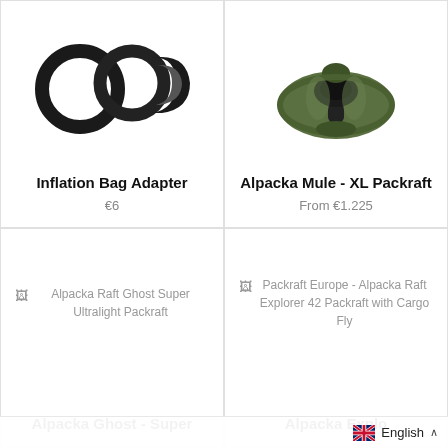[Figure (photo): Product image of Inflation Bag Adapter - black rubber rings/adapters on white background]
Inflation Bag Adapter
€6
[Figure (photo): Product image of Alpacka Mule XL Packraft - olive green inflatable packraft with black seat on white background]
Alpacka Mule - XL Packraft
From €1.225
[Figure (photo): Broken image placeholder for Alpacka Raft Ghost Super Ultralight Packraft]
Alpacka Raft Ghost Super Ultralight Packraft
Alpacka Ghost - Super
[Figure (photo): Broken image placeholder for Packraft Europe - Alpacka Raft Explorer 42 Packraft with Cargo Fly]
Packraft Europe - Alpacka Raft Explorer 42 Packraft with Cargo Fly
Alpacka Explo
English